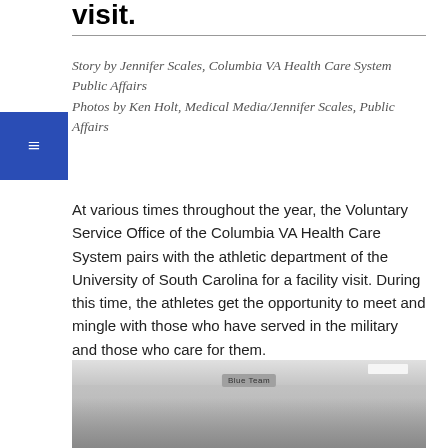visit.
Story by Jennifer Scales, Columbia VA Health Care System Public Affairs
Photos by Ken Holt, Medical Media/Jennifer Scales, Public Affairs
At various times throughout the year, the Voluntary Service Office of the Columbia VA Health Care System pairs with the athletic department of the University of South Carolina for a facility visit. During this time, the athletes get the opportunity to meet and mingle with those who have served in the military and those who care for them.
[Figure (photo): Group of people standing inside a facility with a 'Blue Team' sign visible above them; appears to show athletes and VA staff during a facility visit.]